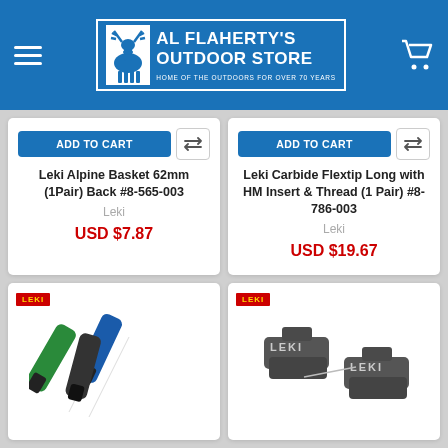[Figure (logo): Al Flaherty's Outdoor Store logo with moose silhouette and tagline 'Home of the Outdoors for Over 70 Years']
ADD TO CART
Leki Alpine Basket 62mm (1Pair) Back #8-565-003
Leki
USD $7.87
ADD TO CART
Leki Carbide Flextip Long with HM Insert & Thread (1 Pair) #8-786-003
Leki
USD $19.67
[Figure (photo): Leki product - coloured pole tips/ferrules in green, blue and black]
[Figure (photo): Leki product - two grey rubber/plastic clips with LEKI branding]